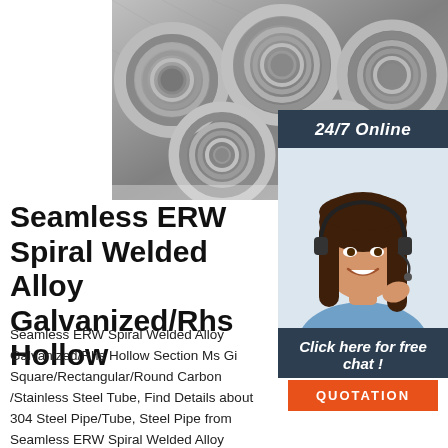[Figure (photo): Photo of stacked steel wire coils — galvanized metallic wire wound into large circular rolls, multiple coils visible stacked together]
[Figure (photo): Customer service representative with headset, smiling, with '24/7 Online' overlay header in dark navy, 'Click here for free chat!' text, and an orange QUOTATION button]
Seamless ERW Spiral Welded Alloy Galvanized/Rhs Hollow
Seamless ERW Spiral Welded Alloy Galvanized/Rhs Hollow Section Ms Gi Square/Rectangular/Round Carbon /Stainless Steel Tube, Find Details about 304 Steel Pipe/Tube, Steel Pipe from Seamless ERW Spiral Welded Alloy Galvanized/Rhs Hollow Section Ms Gi Square/Rectangular/Round Carbon /Stainless